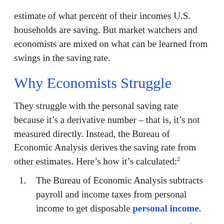estimate of what percent of their incomes U.S. households are saving. But market watchers and economists are mixed on what can be learned from swings in the saving rate.
Why Economists Struggle
They struggle with the personal saving rate because it’s a derivative number – that is, it’s not measured directly. Instead, the Bureau of Economic Analysis derives the saving rate from other estimates. Here’s how it’s calculated:²
The Bureau of Economic Analysis subtracts payroll and income taxes from personal income to get disposable personal income.
The Bureau then subtracts its estimate of personal